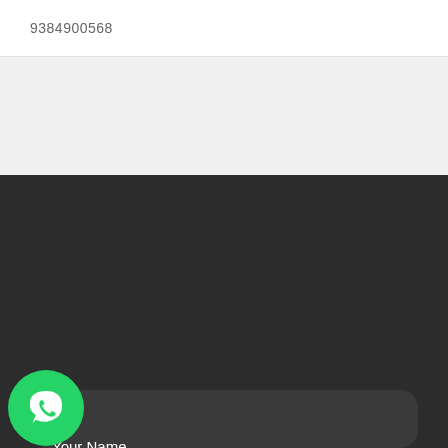9384900568
[Figure (screenshot): A web form UI with dark background. Shows 'Your Name' label with white input field, 'Email' label with white input field, and a WhatsApp floating button in the bottom left corner.]